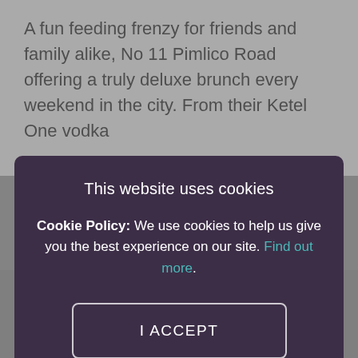A fun feeding frenzy for friends and family alike, No 11 Pimlico Road offering a truly deluxe brunch every weekend in the city. From their Ketel One vodka
[Figure (screenshot): Cookie consent modal dialog overlaying a website. Dark purple background modal with title 'This website uses cookies', cookie policy text, an 'I ACCEPT' button with border, and an 'I DO NOT ACCEPT' link.]